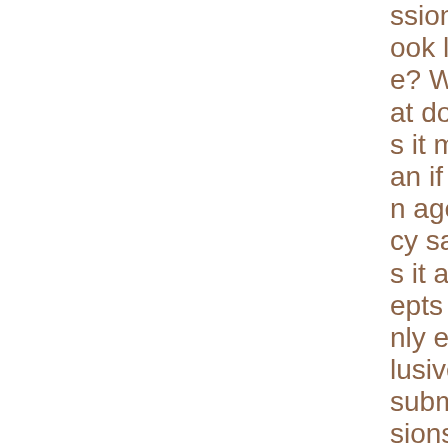ssion look like? What does it mean if an agency says it accepts only exclusive submissions? What does it mean if an